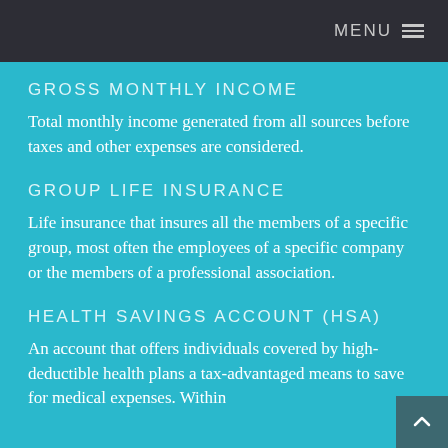MENU
GROSS MONTHLY INCOME
Total monthly income generated from all sources before taxes and other expenses are considered.
GROUP LIFE INSURANCE
Life insurance that insures all the members of a specific group, most often the employees of a specific company or the members of a professional association.
HEALTH SAVINGS ACCOUNT (HSA)
An account that offers individuals covered by high-deductible health plans a tax-advantaged means to save for medical expenses. Within